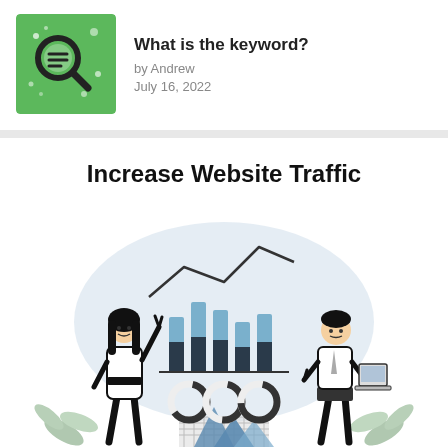[Figure (illustration): Green square thumbnail with a magnifying glass icon and decorative elements, representing keyword search.]
What is the keyword?
by Andrew
July 16, 2022
Increase Website Traffic
[Figure (illustration): Illustration of two people (a woman on the left with black hair pointing upward, and a man on the right holding a laptop) standing beside a data dashboard showing bar charts, line charts, and donut charts against a light blue cloud-shaped background, with decorative geometric shapes and leaves at the bottom.]